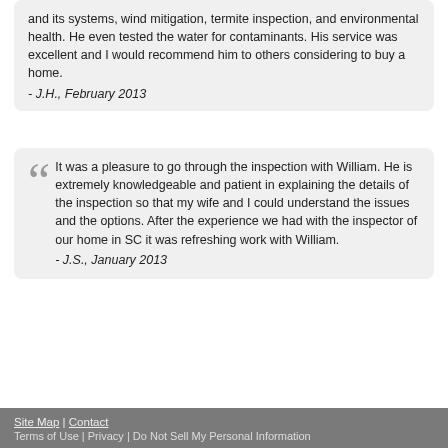and its systems, wind mitigation, termite inspection, and environmental health. He even tested the water for contaminants. His service was excellent and I would recommend him to others considering to buy a home.
- J.H., February 2013
It was a pleasure to go through the inspection with William. He is extremely knowledgeable and patient in explaining the details of the inspection so that my wife and I could understand the issues and the options. After the experience we had with the inspector of our home in SC it was refreshing work with William.
- J.S., January 2013
Site Map | Contact
Terms of Use | Privacy | Do Not Sell My Personal Information